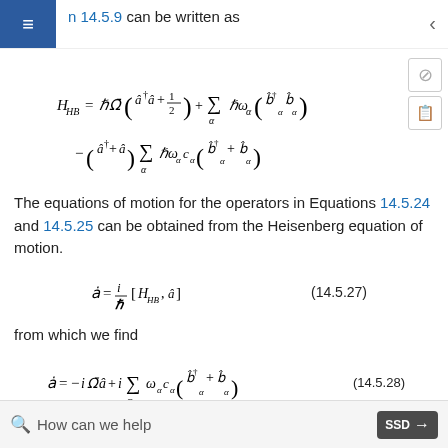on 14.5.9 can be written as
The equations of motion for the operators in Equations 14.5.24 and 14.5.25 can be obtained from the Heisenberg equation of motion.
from which we find